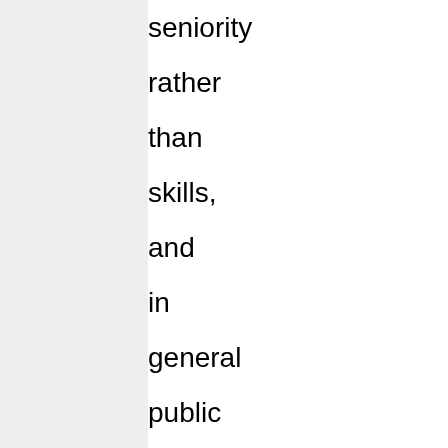seniority rather than skills, and in general public union pay and benefits far exceeds that of the private sector. It is